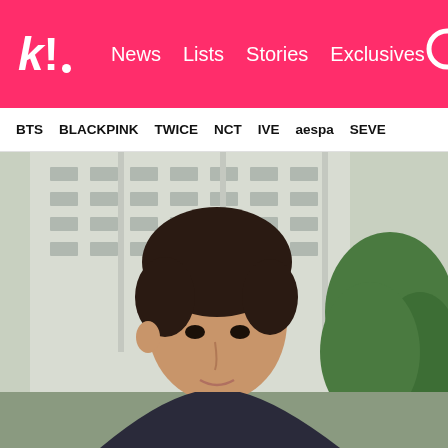k! News Lists Stories Exclusives
BTS BLACKPINK TWICE NCT IVE aespa SEVE
[Figure (photo): A young Korean male with dark brown hair posing outdoors in front of a multi-story building with green trees in the background. The photo appears to be a K-pop artist promotional photo.]